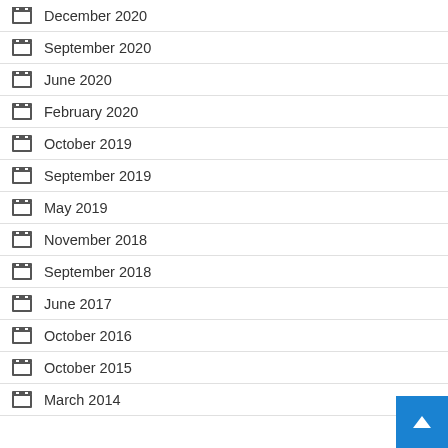December 2020
September 2020
June 2020
February 2020
October 2019
September 2019
May 2019
November 2018
September 2018
June 2017
October 2016
October 2015
March 2014